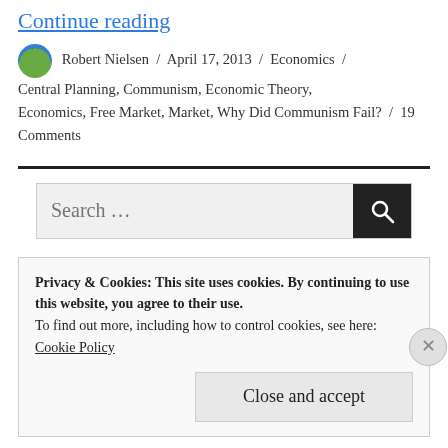Continue reading
Robert Nielsen / April 17, 2013 / Economics / Central Planning, Communism, Economic Theory, Economics, Free Market, Market, Why Did Communism Fail? / 19 Comments
Search ...
Privacy & Cookies: This site uses cookies. By continuing to use this website, you agree to their use.
To find out more, including how to control cookies, see here:
Cookie Policy
Close and accept